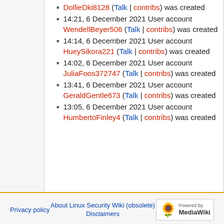14:21, 6 December 2021 User account WendellBeyer506 (Talk | contribs) was created
14:14, 6 December 2021 User account HueySikora221 (Talk | contribs) was created
14:02, 6 December 2021 User account JuliaFoos372747 (Talk | contribs) was created
13:41, 6 December 2021 User account GeraldGentle673 (Talk | contribs) was created
13:05, 6 December 2021 User account HumbertoFinley4 (Talk | contribs) was created
(newest | oldest) View (newer 50 | older 50) (20 | 50 | 100 | 250 | 500)
Privacy policy | About Linux Security Wiki (obsolete) | Disclaimers | Powered by MediaWiki